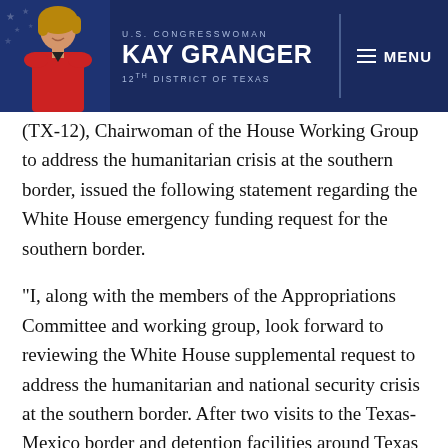U.S. CONGRESSWOMAN KAY GRANGER 12TH DISTRICT OF TEXAS
(TX-12), Chairwoman of the House Working Group to address the humanitarian crisis at the southern border, issued the following statement regarding the White House emergency funding request for the southern border.
“I, along with the members of the Appropriations Committee and working group, look forward to reviewing the White House supplemental request to address the humanitarian and national security crisis at the southern border. After two visits to the Texas-Mexico border and detention facilities around Texas